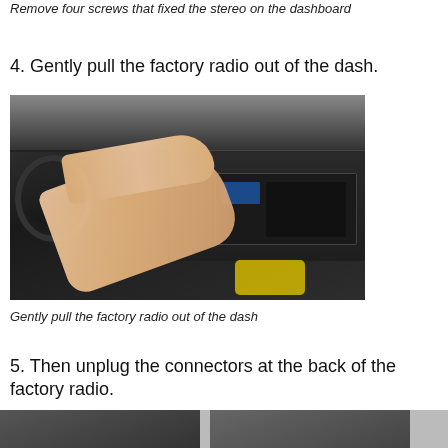Remove four screws that fixed the stereo on the dashboard
4. Gently pull the factory radio out of the dash.
[Figure (photo): A hand pulling the factory radio unit out of a car dashboard. The radio is partially removed, showing the center console area with the steering wheel visible on the left and yellow cloth visible at the bottom.]
Gently pull the factory radio out of the dash
5. Then unplug the connectors at the back of the factory radio.
[Figure (photo): Bottom strip showing partial images related to the next step of radio installation.]